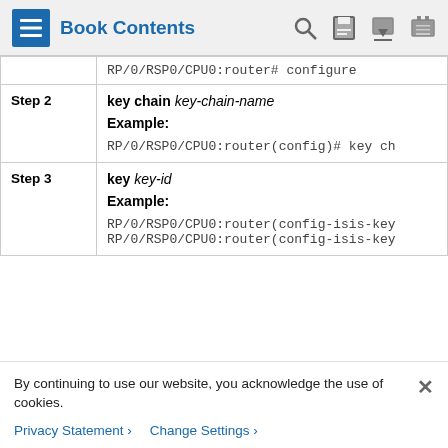Book Contents
| Step | Command/Description |
| --- | --- |
|  | RP/0/RSP0/CPU0:router# configure |
| Step 2 | key chain key-chain-name
Example:
RP/0/RSP0/CPU0:router(config)# key ch |
| Step 3 | key key-id
Example:
RP/0/RSP0/CPU0:router(config-isis-key
RP/0/RSP0/CPU0:router(config-isis-key |
By continuing to use our website, you acknowledge the use of cookies.
Privacy Statement > Change Settings >